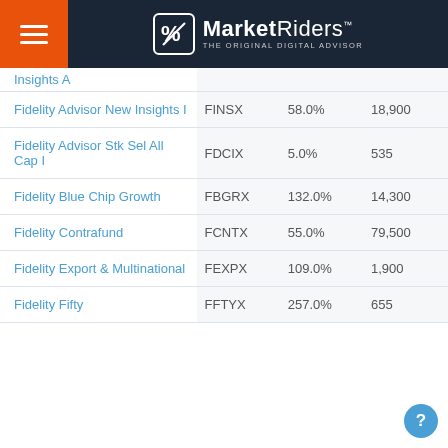MarketRiders - THE ORIGINAL DIGITAL ADVISOR
| Fund Name | Ticker | Return | Min Invest |
| --- | --- | --- | --- |
| Insights A |  |  |  |
| Fidelity Advisor New Insights I | FINSX | 58.0% | 18,900 |
| Fidelity Advisor Stk Sel All Cap I | FDCIX | 5.0% | 535 |
| Fidelity Blue Chip Growth | FBGRX | 132.0% | 14,300 |
| Fidelity Contrafund | FCNTX | 55.0% | 79,500 |
| Fidelity Export & Multinational | FEXPX | 109.0% | 1,900 |
| Fidelity Fifty | FFTYX | 257.0% | 655 |